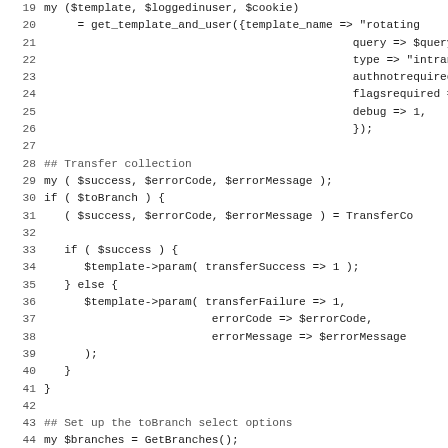[Figure (screenshot): Source code listing in Perl/similar language, lines 19-50, showing template retrieval, transfer collection logic, and branch option loop setup, displayed with line numbers in monospace font on white background.]